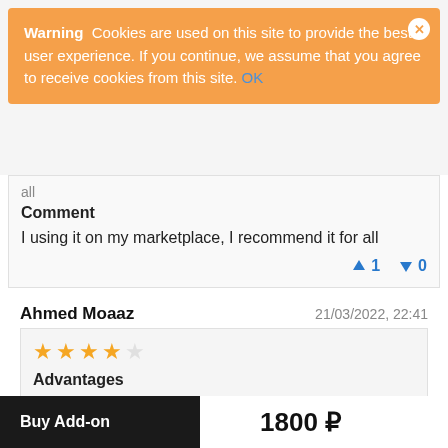Warning  Cookies are used on this site to provide the best user experience. If you continue, we assume that you agree to receive cookies from this site. OK
all
Comment
I using it on my marketplace, I recommend it for all
↑ 1   ↓ 0
Ahmed Moaaz   21/03/2022, 22:41
[Figure (other): 4 out of 5 stars rating]
Advantages
Very Useful add-on and great support
Buy Add-on   1800 ₽